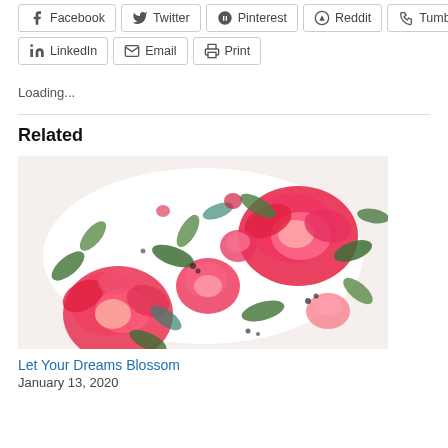Facebook
Twitter
Pinterest
Reddit
Tumblr
LinkedIn
Email
Print
Loading...
Related
[Figure (illustration): Watercolor painting of red and pink flowers (peonies/roses) with green leaves arranged in a heart or circular shape on a white background.]
Let Your Dreams Blossom
January 13, 2020